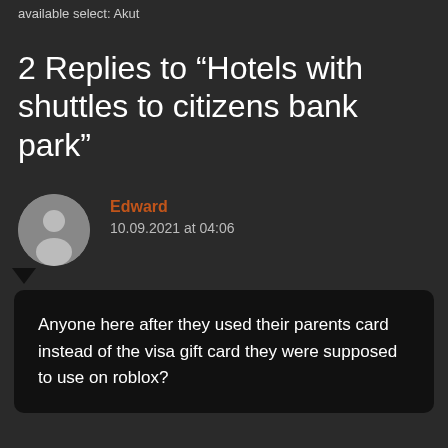available select: Akut
2 Replies to “Hotels with shuttles to citizens bank park”
Edward
10.09.2021 at 04:06
Anyone here after they used their parents card instead of the visa gift card they were supposed to use on roblox?